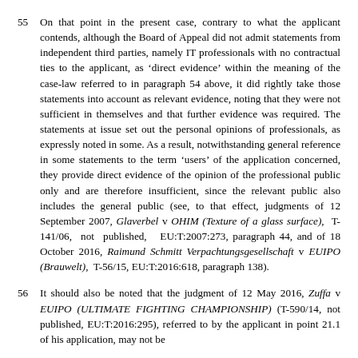55   On that point in the present case, contrary to what the applicant contends, although the Board of Appeal did not admit statements from independent third parties, namely IT professionals with no contractual ties to the applicant, as 'direct evidence' within the meaning of the case-law referred to in paragraph 54 above, it did rightly take those statements into account as relevant evidence, noting that they were not sufficient in themselves and that further evidence was required. The statements at issue set out the personal opinions of professionals, as expressly noted in some. As a result, notwithstanding general reference in some statements to the term 'users' of the application concerned, they provide direct evidence of the opinion of the professional public only and are therefore insufficient, since the relevant public also includes the general public (see, to that effect, judgments of 12 September 2007, Glaverbel v OHIM (Texture of a glass surface), T-141/06, not published, EU:T:2007:273, paragraph 44, and of 18 October 2016, Raimund Schmitt Verpachtungsgesellschaft v EUIPO (Brauwelt), T-56/15, EU:T:2016:618, paragraph 138).
56   It should also be noted that the judgment of 12 May 2016, Zuffa v EUIPO (ULTIMATE FIGHTING CHAMPIONSHIP) (T-590/14, not published, EU:T:2016:295), referred to by the applicant in point 21.1 of his application, may not be